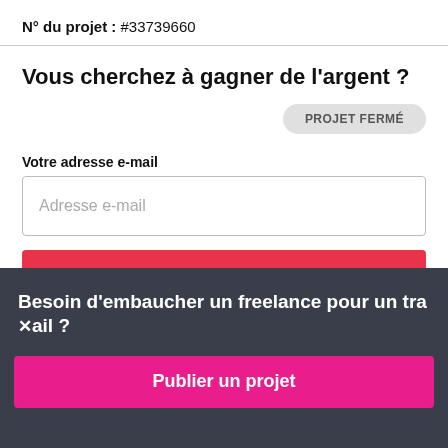N° du projet : #33739660
Vous cherchez à gagner de l'argent ?
PROJET FERMÉ
Votre adresse e-mail
Adresse e-mail
Postuler à des emplois similaires
Besoin d'embaucher un freelance pour un travail ?
Publier un projet